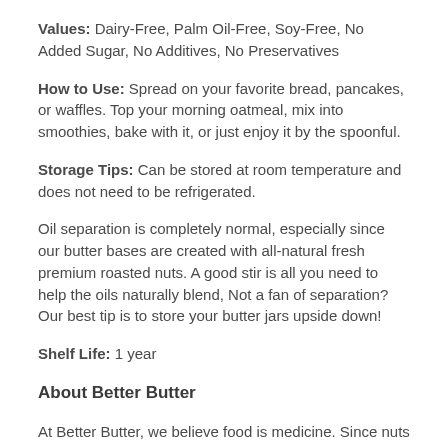Values: Dairy-Free, Palm Oil-Free, Soy-Free, No Added Sugar, No Additives, No Preservatives
How to Use: Spread on your favorite bread, pancakes, or waffles. Top your morning oatmeal, mix into smoothies, bake with it, or just enjoy it by the spoonful.
Storage Tips: Can be stored at room temperature and does not need to be refrigerated.
Oil separation is completely normal, especially since our butter bases are created with all-natural fresh premium roasted nuts. A good stir is all you need to help the oils naturally blend, Not a fan of separation? Our best tip is to store your butter jars upside down!
Shelf Life: 1 year
About Better Butter
At Better Butter, we believe food is medicine. Since nuts are good sources of healthy, anti-inflammatory polyunsaturated fats, we set out to produce premium, high-quality nut butters handcrafted with love and free from added oils, thickeners, and preservatives.